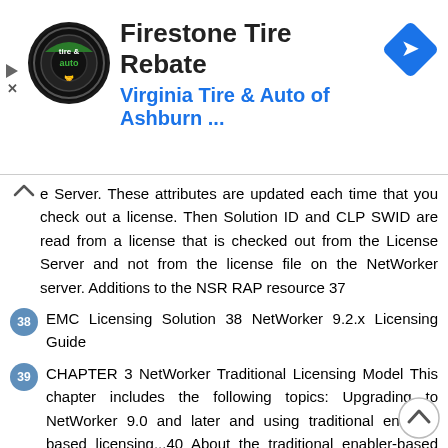[Figure (infographic): Advertisement banner for Firestone Tire Rebate featuring Virginia Tire & Auto of Ashburn logo (circular black logo with green tire & auto text), advertisement title 'Firestone Tire Rebate', subtitle 'Virginia Tire & Auto of Ashburn ...' in blue, and a blue navigation arrow diamond icon on the right.]
e Server. These attributes are updated each time that you check out a license. Then Solution ID and CLP SWID are read from a license that is checked out from the License Server and not from the license file on the NetWorker server. Additions to the NSR RAP resource 37
38  EMC Licensing Solution 38 NetWorker 9.2.x Licensing Guide
39  CHAPTER 3 NetWorker Traditional Licensing Model This chapter includes the following topics: Upgrading to NetWorker 9.0 and later and using traditional enabler-based licensing...40 About the traditional enabler-based licensing model The evaluation process...42 Delete an enabler code...44 License process flow...44 Permanently license the NetWorker software...46 Product licenses...52 NetWorker 45-Day evaluation enabler codes NetWorker Traditional Licensing Model 39